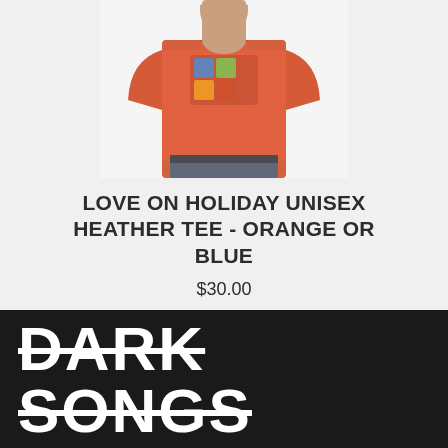[Figure (photo): Man wearing an orange heather t-shirt with a graphic print on the front, grey jeans, cropped from chest to thighs on a light grey background.]
LOVE ON HOLIDAY UNISEX HEATHER TEE - ORANGE OR BLUE
$30.00
DARK SONGS